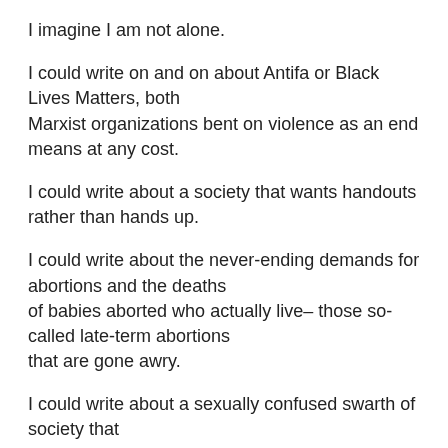I imagine I am not alone.
I could write on and on about Antifa or Black Lives Matters, both Marxist organizations bent on violence as an end means at any cost.
I could write about a society that wants handouts rather than hands up.
I could write about the never-ending demands for abortions and the deaths of babies aborted who actually live– those so-called late-term abortions that are gone awry.
I could write about a sexually confused swarth of society that